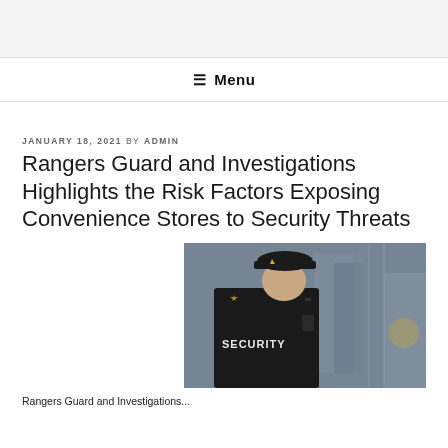≡ Menu
JANUARY 18, 2021 BY ADMIN
Rangers Guard and Investigations Highlights the Risk Factors Exposing Convenience Stores to Security Threats
[Figure (photo): Security guard wearing black uniform with SECURITY text on back, talking on walkie-talkie radio, wearing a black cap with gold star badge, photographed from behind/side in an urban setting]
Rangers Guard and Investigations...